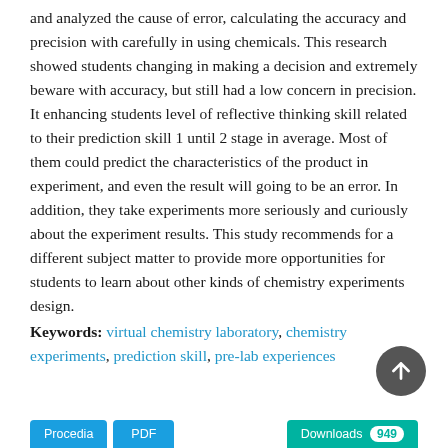and analyzed the cause of error, calculating the accuracy and precision with carefully in using chemicals. This research showed students changing in making a decision and extremely beware with accuracy, but still had a low concern in precision. It enhancing students level of reflective thinking skill related to their prediction skill 1 until 2 stage in average. Most of them could predict the characteristics of the product in experiment, and even the result will going to be an error. In addition, they take experiments more seriously and curiously about the experiment results. This study recommends for a different subject matter to provide more opportunities for students to learn about other kinds of chemistry experiments design.
Keywords: virtual chemistry laboratory, chemistry experiments, prediction skill, pre-lab experiences
[Figure (other): Bottom navigation buttons: Procedia, PDF, Downloads counter, and a circular scroll-up FAB button]